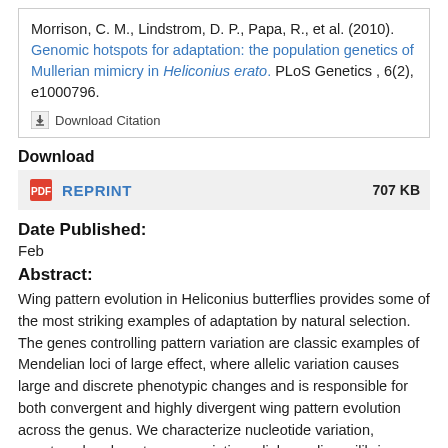Morrison, C. M., Lindstrom, D. P., Papa, R., et al. (2010). Genomic hotspots for adaptation: the population genetics of Mullerian mimicry in Heliconius erato. PLoS Genetics, 6(2), e1000796.
Download Citation
Download
REPRINT   707 KB
Date Published:
Feb
Abstract:
Wing pattern evolution in Heliconius butterflies provides some of the most striking examples of adaptation by natural selection. The genes controlling pattern variation are classic examples of Mendelian loci of large effect, where allelic variation causes large and discrete phenotypic changes and is responsible for both convergent and highly divergent wing pattern evolution across the genus. We characterize nucleotide variation, genotype-by-phenotype associations, linkage disequilibrium (LD), and